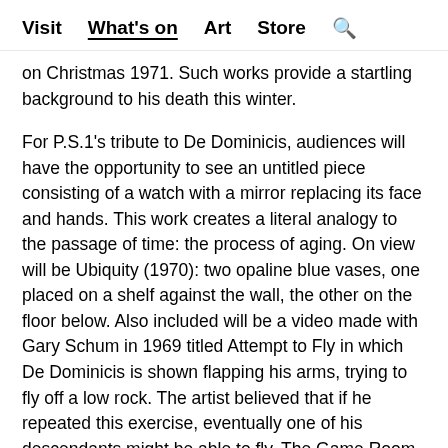Visit  What's on  Art  Store  🔍
on Christmas 1971. Such works provide a startling background to his death this winter.
For P.S.1's tribute to De Dominicis, audiences will have the opportunity to see an untitled piece consisting of a watch with a mirror replacing its face and hands. This work creates a literal analogy to the passage of time: the process of aging. On view will be Ubiquity (1970): two opaline blue vases, one placed on a shelf against the wall, the other on the floor below. Also included will be a video made with Gary Schum in 1969 titled Attempt to Fly in which De Dominicis is shown flapping his arms, trying to fly off a low rock. The artist believed that if he repeated this exercise, eventually one of his descendants might be able to fly. The Game Room also includes